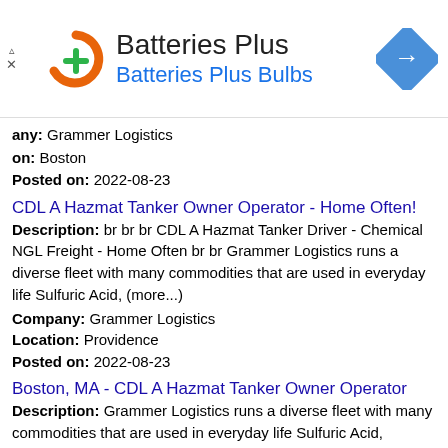[Figure (advertisement): Batteries Plus / Batteries Plus Bulbs advertisement banner with orange circular logo with green plus sign, company name, and blue direction sign arrow icon on right.]
any: Grammer Logistics
on: Boston
Posted on: 2022-08-23
CDL A Hazmat Tanker Owner Operator - Home Often!
Description: br br br CDL A Hazmat Tanker Driver - Chemical NGL Freight - Home Often br br Grammer Logistics runs a diverse fleet with many commodities that are used in everyday life Sulfuric Acid, (more...)
Company: Grammer Logistics
Location: Providence
Posted on: 2022-08-23
Boston, MA - CDL A Hazmat Tanker Owner Operator
Description: Grammer Logistics runs a diverse fleet with many commodities that are used in everyday life Sulfuric Acid, Ammonia, Propane / Butane, Natural Gas Condensate, Acetic Acid, Nitric Acid, and several others. (more...)
Company: Grammer Logistics
Location: Lowell
Posted on: 2022-08-23